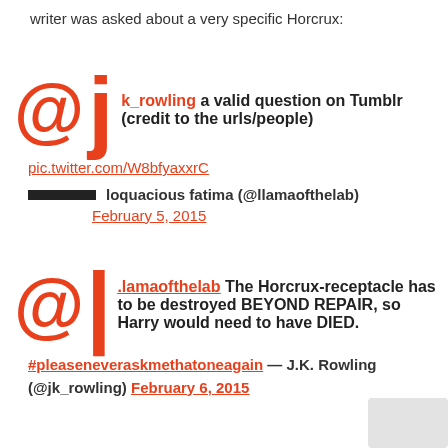writer was asked about a very specific Horcrux:
[Figure (screenshot): Tweet from @j (k_rowling) saying 'a valid question on Tumblr (credit to the urls/people)' with link pic.twitter.com/W8bfyaxxrC, attributed to loquacious fatima (@llamaofthelab), February 5, 2015]
[Figure (screenshot): Tweet from @l (.lamaofthelab) saying 'The Horcrux-receptacle has to be destroyed BEYOND REPAIR, so Harry would need to have DIED.' with hashtag #pleaseneveraskmethatoneagain — J.K. Rowling (@jk_rowling) February 6, 2015]